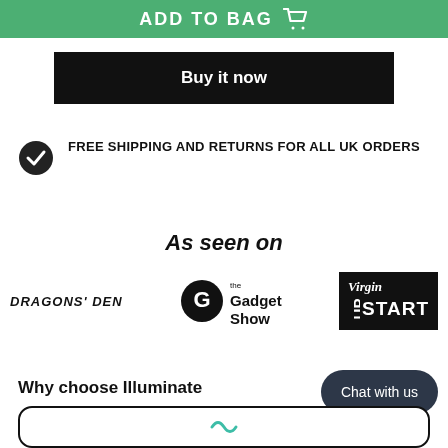[Figure (screenshot): ADD TO BAG button with shopping cart icon on green background]
[Figure (screenshot): Buy it now button on black background]
FREE SHIPPING AND RETURNS FOR ALL UK ORDERS
As seen on
[Figure (logo): Dragons Den, The Gadget Show, and Virgin StartUp logos]
Why choose Illuminate
Chat with us